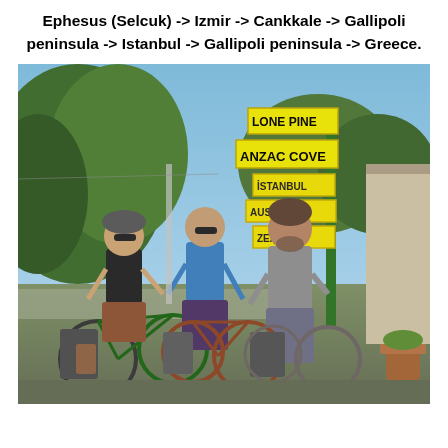Ephesus (Selcuk) -> Izmir -> Cankkale -> Gallipoli peninsula -> Istanbul -> Gallipoli peninsula -> Greece.
[Figure (photo): Three cyclists standing with their loaded touring bicycles in front of a signpost showing directions to Lone Pine, Anzac Cove, Istanbul, Australia, and New Zealand. Trees and hills visible in background. Two women and one man, outdoors on a sunny day at the Gallipoli peninsula.]